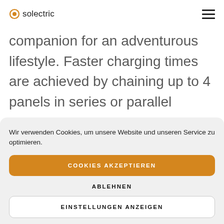solectric
companion for an adventurous lifestyle. Faster charging times are achieved by chaining up to 4 panels in series or parallel
Wir verwenden Cookies, um unsere Website und unseren Service zu optimieren.
COOKIES AKZEPTIEREN
ABLEHNEN
EINSTELLUNGEN ANZEIGEN
Cookie Policy  Privacy Policy  Imprint